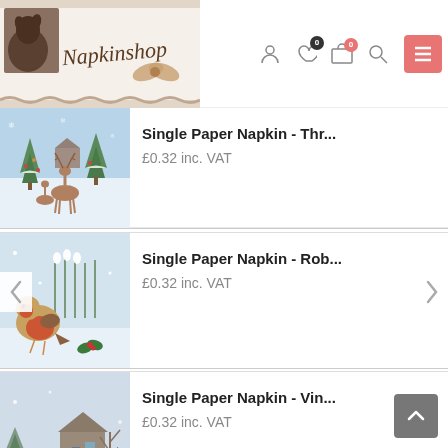[Figure (screenshot): Napkinshop website header with logo (cursive Napkinshop text with bow) and navigation icons including user, wishlist with 0 badge, cart with 0 badge, search, and pink hamburger menu button]
[Figure (photo): Christmas napkin product image showing deer and reindeer in a snowy winter scene with Christmas trees]
Single Paper Napkin - Thr...
£0.32 inc. VAT
[Figure (photo): Christmas napkin product image showing a robin redbreast bird on snowy ground with holly and snowdrops]
Single Paper Napkin - Rob...
£0.32 inc. VAT
[Figure (photo): Christmas napkin product image showing a vintage winter garden scene with snow, robin, and watering can]
Single Paper Napkin - Vin...
£0.32 inc. VAT